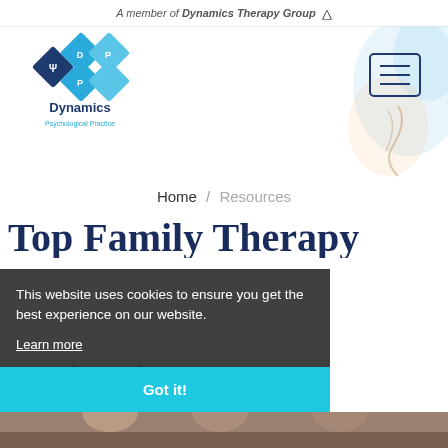A member of Dynamics Therapy Group
[Figure (logo): Dynamics Psychological Practice logo — diamond shape with DPP letters and psi symbol, blue colors, with text 'Dynamics Psychological Practice' below]
[Figure (illustration): Watercolor decorative background on right side of header, with a hand holding papers and a navigation/menu icon]
Home / Resources
Top Family Therapy
ces in Singapore
This website uses cookies to ensure you get the best experience on our website.
Learn more
Got it!
[Figure (photo): Bottom portion of a photo showing people, likely a family therapy session context]